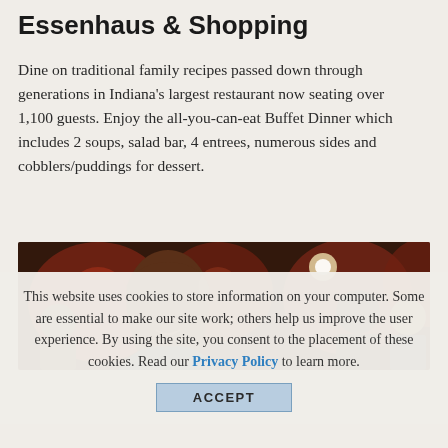Essenhaus & Shopping
Dine on traditional family recipes passed down through generations in Indiana's largest restaurant now seating over 1,100 guests. Enjoy the all-you-can-eat Buffet Dinner which includes 2 soups, salad bar, 4 entrees, numerous sides and cobblers/puddings for dessert.
[Figure (photo): Interior restaurant photo showing a smiling woman in foreground with other diners and warm red ambient lighting in background]
This website uses cookies to store information on your computer. Some are essential to make our site work; others help us improve the user experience. By using the site, you consent to the placement of these cookies. Read our Privacy Policy to learn more.
ACCEPT